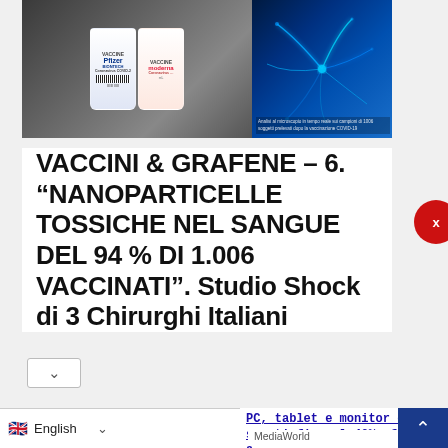[Figure (photo): Pfizer BioNTech and Moderna COVID-19 vaccine vials on dark background, alongside a blue-toned nanoparticle microscopy image with Italian overlay text about analysis of blood samples]
VACCINI & GRAFENE – 6. “NANOPARTICELLE TOSSICHE NEL SANGUE DEL 94 % DI 1.006 VACCINATI”. Studio Shock di 3 Chirurghi Italiani
[Figure (photo): Black to School advertisement banner with books, laptop, and red arrow graphic]
PC, tablet e monitor con sconti fino al 40%, fino a..
MediaWorld